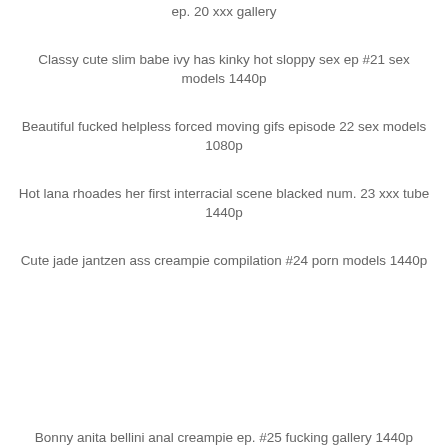ep. 20 xxx gallery
Classy cute slim babe ivy has kinky hot sloppy sex ep #21 sex models 1440p
Beautiful fucked helpless forced moving gifs episode 22 sex models 1080p
Hot lana rhoades her first interracial scene blacked num. 23 xxx tube 1440p
Cute jade jantzen ass creampie compilation #24 porn models 1440p
Bonny anita bellini anal creampie ep. #25 fucking gallery 1440p